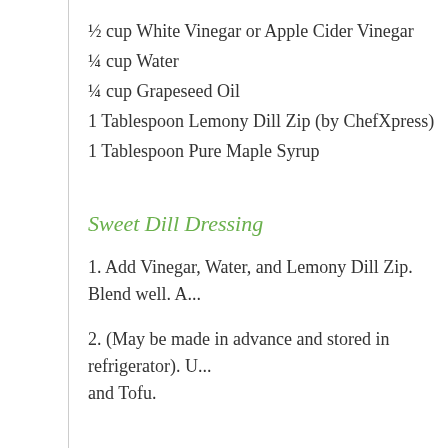½ cup White Vinegar or Apple Cider Vinegar
¼ cup Water
¼ cup Grapeseed Oil
1 Tablespoon Lemony Dill Zip (by ChefXpress)
1 Tablespoon Pure Maple Syrup
Sweet Dill Dressing
1. Add Vinegar, Water, and Lemony Dill Zip. Blend well. A...
2. (May be made in advance and stored in refrigerator). U... and Tofu.
For the Salad
1. Add the sliced cucumbers and onions to a bowl, top wi...